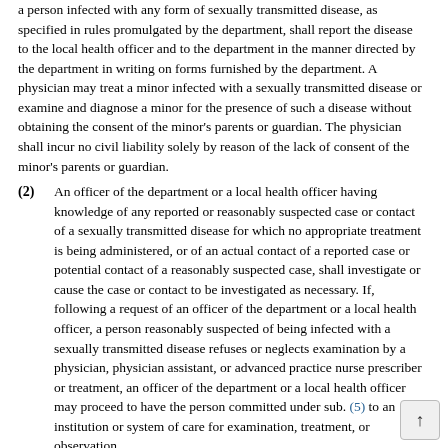a person infected with any form of sexually transmitted disease, as specified in rules promulgated by the department, shall report the disease to the local health officer and to the department in the manner directed by the department in writing on forms furnished by the department. A physician may treat a minor infected with a sexually transmitted disease or examine and diagnose a minor for the presence of such a disease without obtaining the consent of the minor's parents or guardian. The physician shall incur no civil liability solely by reason of the lack of consent of the minor's parents or guardian.
(2) An officer of the department or a local health officer having knowledge of any reported or reasonably suspected case or contact of a sexually transmitted disease for which no appropriate treatment is being administered, or of an actual contact of a reported case or potential contact of a reasonably suspected case, shall investigate or cause the case or contact to be investigated as necessary. If, following a request of an officer of the department or a local health officer, a person reasonably suspected of being infected with a sexually transmitted disease refuses or neglects examination by a physician, physician assistant, or advanced practice nurse prescriber or treatment, an officer of the department or a local health officer may proceed to have the person committed under sub. (5) to an institution or system of care for examination, treatment, or observation.